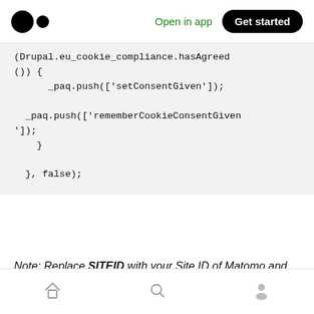Medium logo | Open in app | Get started
(Drupal.eu_cookie_compliance.hasAgreed()) {
        _paq.push(['setConsentGiven']);

    _paq.push(['rememberCookieConsentGiven
']);
      }

    }, false);
Note: Replace SITEID with your Site ID of Matomo and YOURMATOMOHOST with the URL of your Matomo instance.
Home | Search | Profile